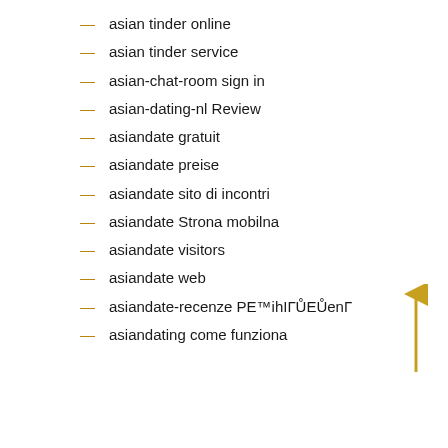asian tinder online
asian tinder service
asian-chat-room sign in
asian-dating-nl Review
asiandate gratuit
asiandate preise
asiandate sito di incontri
asiandate Strona mobilna
asiandate visitors
asiandate web
asiandate-recenze PE™ihIГŮEŮenГ
asiandating come funziona